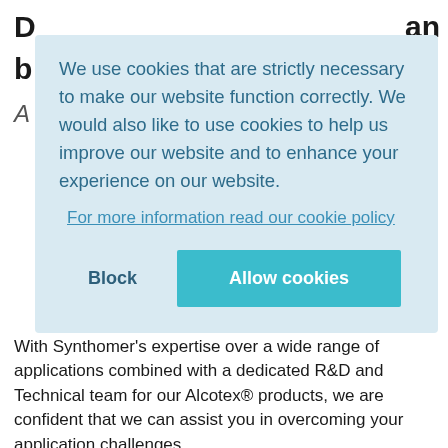[Figure (screenshot): Cookie consent modal overlay on a light blue background. Contains text about cookie usage, a link to cookie policy, and two buttons: 'Block' and 'Allow cookies' (teal button).]
With Synthomer's expertise over a wide range of applications combined with a dedicated R&D and Technical team for our Alcotex® products, we are confident that we can assist you in overcoming your application challenges. If you are interested in finding a custom solution for your specific application or if you would like to obtain more information, please reach out to our Alcotex® Technical team: alcotex@synthomer.com